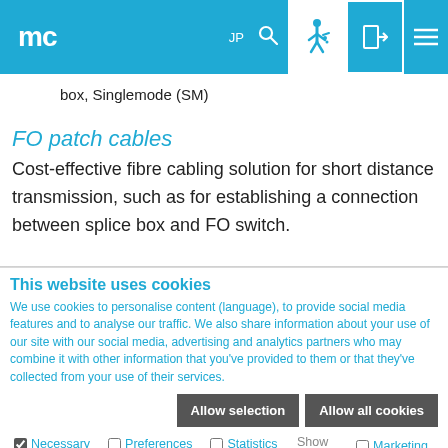mc | JP | [search] | [accessibility icon] | [login icon] | [menu]
box, Singlemode (SM)
FO patch cables
Cost-effective fibre cabling solution for short distance transmission, such as for establishing a connection between splice box and FO switch.
This website uses cookies
We use cookies to personalise content (language), to provide social media features and to analyse our traffic. We also share information about your use of our site with our social media, advertising and analytics partners who may combine it with other information that you've provided to them or that they've collected from your use of their services.
Allow selection | Allow all cookies
Necessary | Preferences | Statistics | Marketing | Show details